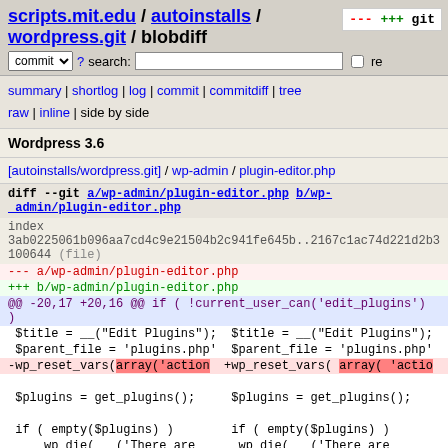scripts.mit.edu / autoinstalls / wordpress.git / blobdiff
summary | shortlog | log | commit | commitdiff | tree
raw | inline | side by side
Wordpress 3.6
[autoinstalls/wordpress.git] / wp-admin / plugin-editor.php
diff --git a/wp-admin/plugin-editor.php b/wp-admin/plugin-editor.php
index 3ab0225061b096aa7cd4c9e21504b2c941fe645b..2167c1ac74d221d2b3
100644 (file)
--- a/wp-admin/plugin-editor.php
+++ b/wp-admin/plugin-editor.php
@@ -20,17 +20,16 @@ if ( !current_user_can('edit_plugins') )
 $title = __("Edit Plugins");  $title = __("Edit Plugins");
 $parent_file = 'plugins.php'  $parent_file = 'plugins.php'
-wp_reset_vars(array('action  +wp_reset_vars( array( 'actio
 $plugins = get_plugins();     $plugins = get_plugins();
 if ( empty($plugins) )        if ( empty($plugins) )
     wp_die( __('There are     wp_die( __('There are